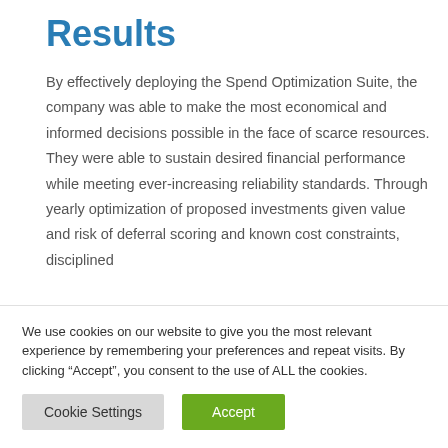Results
By effectively deploying the Spend Optimization Suite, the company was able to make the most economical and informed decisions possible in the face of scarce resources. They were able to sustain desired financial performance while meeting ever-increasing reliability standards. Through yearly optimization of proposed investments given value and risk of deferral scoring and known cost constraints, disciplined
We use cookies on our website to give you the most relevant experience by remembering your preferences and repeat visits. By clicking “Accept”, you consent to the use of ALL the cookies.